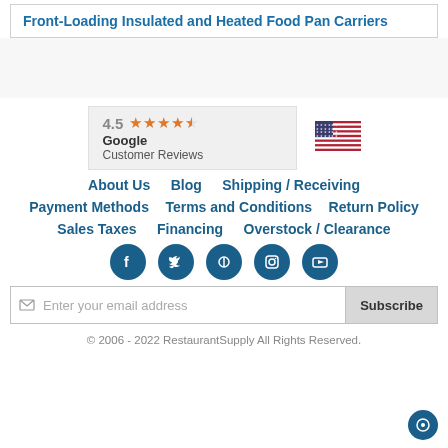Front-Loading Insulated and Heated Food Pan Carriers
[Figure (other): Google Customer Reviews badge showing 4.5 star rating with orange stars]
[Figure (other): US flag icon]
About Us   Blog   Shipping / Receiving
Payment Methods   Terms and Conditions   Return Policy
Sales Taxes   Financing   Overstock / Clearance
[Figure (other): Social media icons: Facebook, Twitter, Pinterest, Instagram, YouTube]
Enter your email address   Subscribe
© 2006 - 2022 RestaurantSupply All Rights Reserved.